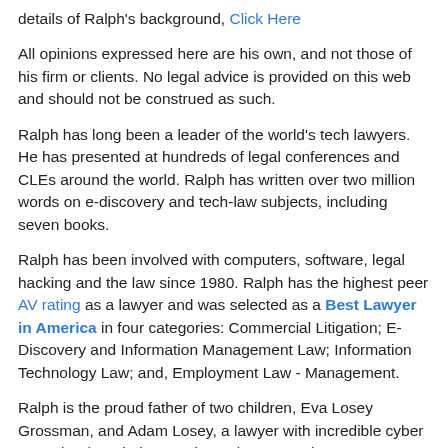details of Ralph's background, Click Here
All opinions expressed here are his own, and not those of his firm or clients. No legal advice is provided on this web and should not be construed as such.
Ralph has long been a leader of the world's tech lawyers. He has presented at hundreds of legal conferences and CLEs around the world. Ralph has written over two million words on e-discovery and tech-law subjects, including seven books.
Ralph has been involved with computers, software, legal hacking and the law since 1980. Ralph has the highest peer AV rating as a lawyer and was selected as a Best Lawyer in America in four categories: Commercial Litigation; E-Discovery and Information Management Law; Information Technology Law; and, Employment Law - Management.
Ralph is the proud father of two children, Eva Losey Grossman, and Adam Losey, a lawyer with incredible cyber expertise (married to another cyber expert lawyer, Catherine Losey), and best of all, husband since 1973 to Molly Friedman Losey, a mental health counselor in Winter Park.